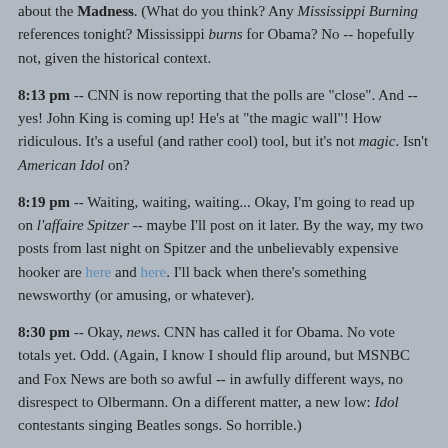about the Madness. (What do you think? Any Mississippi Burning references tonight? Mississippi burns for Obama? No -- hopefully not, given the historical context.
8:13 pm -- CNN is now reporting that the polls are "close". And -- yes! John King is coming up! He's at "the magic wall"! How ridiculous. It's a useful (and rather cool) tool, but it's not magic. Isn't American Idol on?
8:19 pm -- Waiting, waiting, waiting... Okay, I'm going to read up on l'affaire Spitzer -- maybe I'll post on it later. By the way, my two posts from last night on Spitzer and the unbelievably expensive hooker are here and here. I'll back when there's something newsworthy (or amusing, or whatever).
8:30 pm -- Okay, news. CNN has called it for Obama. No vote totals yet. Odd. (Again, I know I should flip around, but MSNBC and Fox News are both so awful -- in awfully different ways, no disrespect to Olbermann. On a different matter, a new low: Idol contestants singing Beatles songs. So horrible.)
8:54 pm -- Well, Carly Smithson's "Come Together" was really